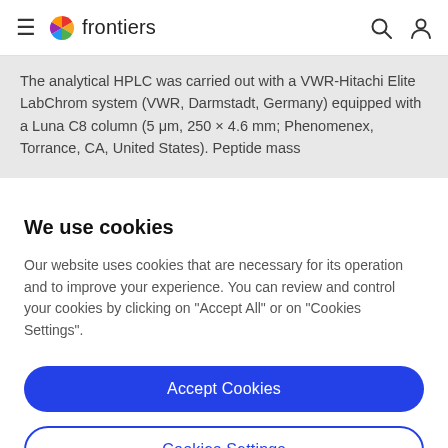frontiers
The analytical HPLC was carried out with a VWR-Hitachi Elite LabChrom system (VWR, Darmstadt, Germany) equipped with a Luna C8 column (5 μm, 250 × 4.6 mm; Phenomenex, Torrance, CA, United States). Peptide mass
We use cookies
Our website uses cookies that are necessary for its operation and to improve your experience. You can review and control your cookies by clicking on "Accept All" or on "Cookies Settings".
Accept Cookies
Cookies Settings